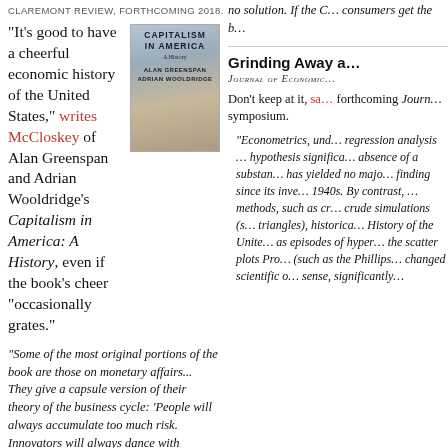CLAREMONT REVIEW, FORTHCOMING 2018.
“It’s good to have a cheerful economic history of the United States,” writes McCloskey of Alan Greenspan and Adrian Wooldridge’s Capitalism in America: A History, even if the book’s cheer “occasionally grates.”
[Figure (illustration): Book cover of Capitalism in America: A History by Alan Greenspan and Adrian Wooldridge]
“Some of the most original portions of the book are those on monetary affairs... They give a capsule version of their theory of the business cycle: ‘People will always accumulate too much risk. Innovators will always dance with danger.’ Spot on. The business cycle, as against an earlier war-and-famine non-cycle, starts in the very late 18th century. Why is that? Answer: because an enriching people with diverse portfolios will want to accumulate more risk; and because innovators will dance with the risk if liberalism allows them to have a go, as increasingly after 1800 it massively did. Since then we have seen over forty ups and downs of irrational exuberance (as one might put it) followed by excessive pessimism, albeit with the subsequent up always higher than
no solution. If the C… consumers get the b…
Grinding Away a…
Journal of Economic…
Don’t keep at it, sa… forthcoming Journ… symposium.
“Econometrics, und… regression analysis … hypothesis significa… absence of a substan… has yielded no majo… finding since its inve… 1940s. By contrast, … methods, such as cr… crude simulations (s… triangles), historica… History of the Unite… as episodes of hyper… the scatter plots Pro… (such as the Phillips… changed scientific o… sense, significantly…